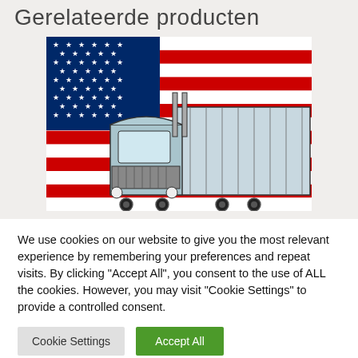Gerelateerde producten
[Figure (illustration): American flag with a semi-truck (big rig) illustration in the foreground. The flag shows stars on a blue canton and red/white stripes. The truck is a detailed line-art style drawing of a classic American 18-wheeler.]
We use cookies on our website to give you the most relevant experience by remembering your preferences and repeat visits. By clicking “Accept All”, you consent to the use of ALL the cookies. However, you may visit "Cookie Settings" to provide a controlled consent.
Cookie Settings   Accept All